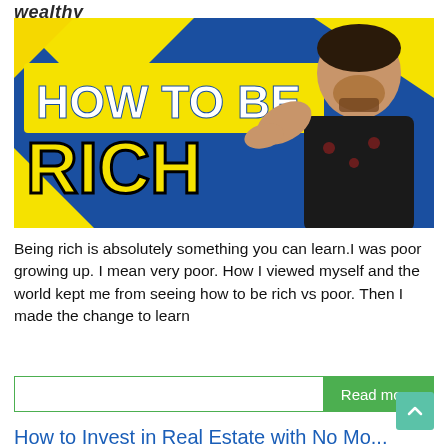wealthy
[Figure (illustration): YouTube thumbnail style image with blue and yellow background showing large bold text 'HOW TO BE RICH' and a man in a black t-shirt gesturing with his hand]
Being rich is absolutely something you can learn.I was poor growing up. I mean very poor. How I viewed myself and the world kept me from seeing how to be rich vs poor. Then I made the change to learn
Read more
How to Invest in Real Estate with No Mo...